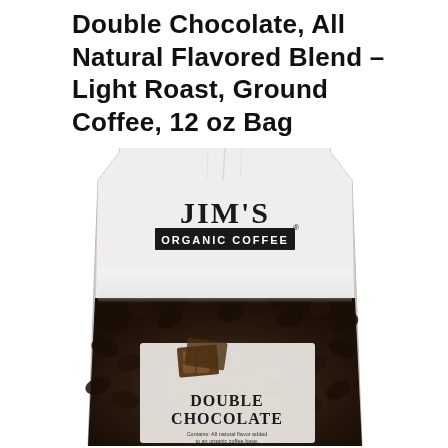Double Chocolate, All Natural Flavored Blend – Light Roast, Ground Coffee, 12 oz Bag
[Figure (photo): Jim's Organic Coffee Double Chocolate flavored ground coffee bag, light roast, 12 oz. White bag with coffee beans imagery, black Jim's Organic Coffee logo at top, lower label section showing chocolate bar illustration, 'Double Chocolate' text, description text, and orange strip at bottom reading 'BLEND | ROAST: LIGHT' with NET WT. 12 oz (340g).]